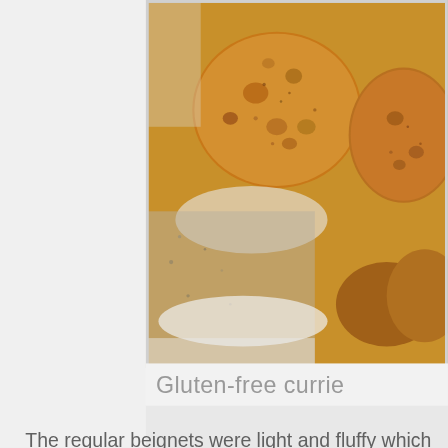[Figure (photo): Close-up photo of golden-brown battered food items (gluten-free curried beignets) on a white plate with granite surface visible in background]
Gluten-free currie
The regular beignets were light and fluffy which allowed the s... beignets looked weirdly like McDonald’s “chicken nuggets” (bu...
Privacy & Cookies: This site uses cookies. By continuin... you agree to their use.
To find out more, including how to control cookies, see
Close and accept